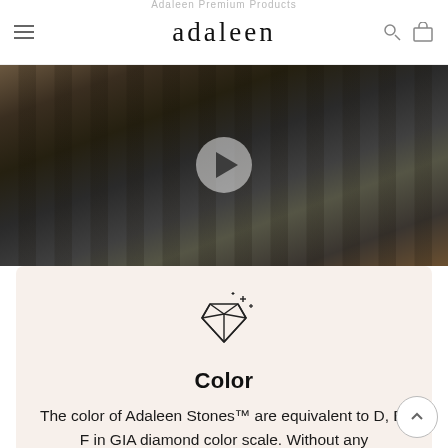adaleen
[Figure (photo): Dark close-up photo of metal casting/jewelry tools with a video play button overlay]
Color
The color of Adaleen Stones™ are equivalent to D, E, F in GIA diamond color scale. Without any professional equipment, Adaleen